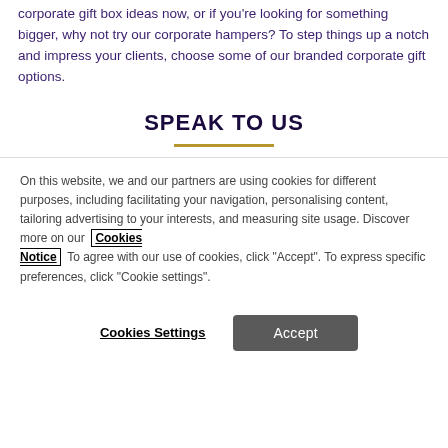corporate gift box ideas now, or if you're looking for something bigger, why not try our corporate hampers? To step things up a notch and impress your clients, choose some of our branded corporate gift options.
SPEAK TO US
On this website, we and our partners are using cookies for different purposes, including facilitating your navigation, personalising content, tailoring advertising to your interests, and measuring site usage. Discover more on our Cookies Notice To agree with our use of cookies, click "Accept". To express specific preferences, click "Cookie settings".
Cookies Settings | Accept